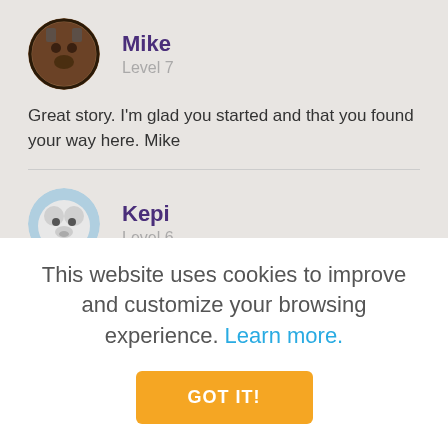[Figure (photo): Circular avatar of user Mike - brown/dark tones]
Mike
Level 7
Great story. I'm glad you started and that you found your way here. Mike
[Figure (photo): Circular avatar of user Kepi - white fluffy dog]
Kepi
Level 6
I love your photo! What a great collection! Good job and keep using that metal detector.
This website uses cookies to improve and customize your browsing experience. Learn more.
GOT IT!